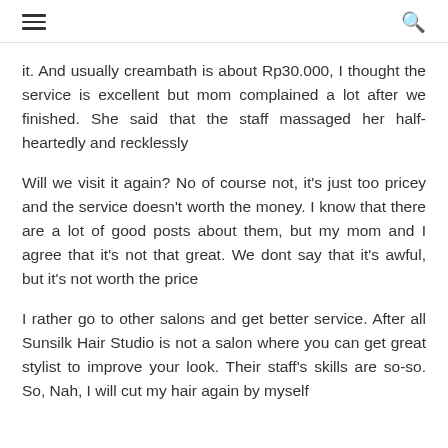☰  🔍
it. And usually creambath is about Rp30.000, I thought the service is excellent but mom complained a lot after we finished. She said that the staff massaged her half-heartedly and recklessly
Will we visit it again? No of course not, it's just too pricey and the service doesn't worth the money. I know that there are a lot of good posts about them, but my mom and I agree that it's not that great. We dont say that it's awful, but it's not worth the price
I rather go to other salons and get better service. After all Sunsilk Hair Studio is not a salon where you can get great stylist to improve your look. Their staff's skills are so-so. So, Nah, I will cut my hair again by myself